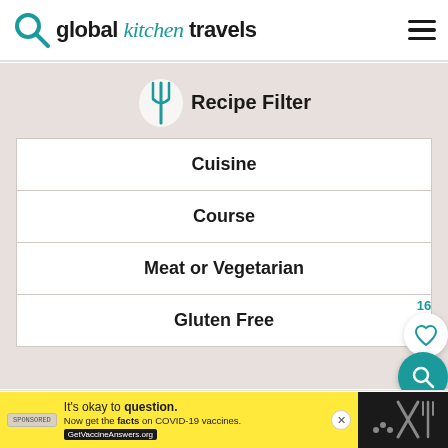global kitchen travels
Recipe Filter
Cuisine
Course
Meat or Vegetarian
Gluten Free
Smoked Paprika Mango Jicama Salad
Jicama Pico de Gallo
Jicama Salad with Toasted Coconut
It's okay to question. Now get the facts on COVID-19 vaccines. GetVaccineAnswers.org